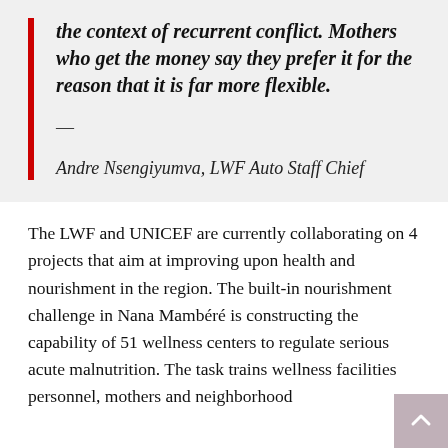the context of recurrent conflict. Mothers who get the money say they prefer it for the reason that it is far more flexible.
— Andre Nsengiyumva, LWF Auto Staff Chief
The LWF and UNICEF are currently collaborating on 4 projects that aim at improving upon health and nourishment in the region. The built-in nourishment challenge in Nana Mambéré is constructing the capability of 51 wellness centers to regulate serious acute malnutrition. The task trains wellness facilities personnel, mothers and neighborhood